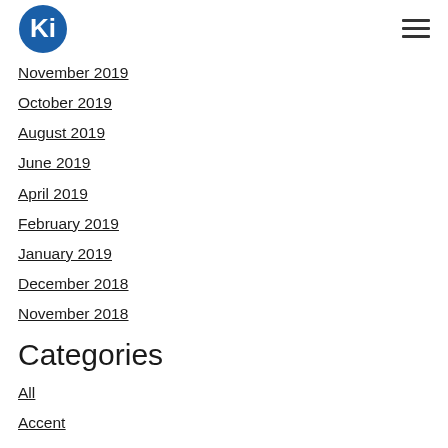KI logo and hamburger menu
November 2019
October 2019
August 2019
June 2019
April 2019
February 2019
January 2019
December 2018
November 2018
Categories
All
Accent
Adult English Class
Afghanistan
Africa
Asylees